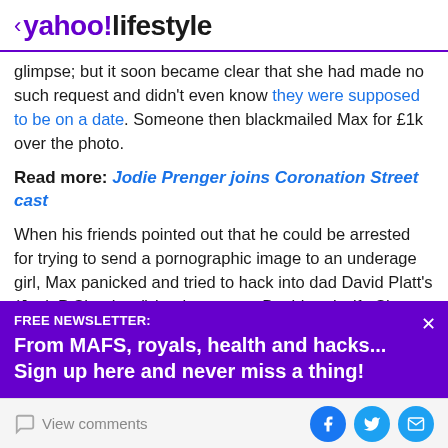< yahoo!lifestyle
glimpse; but it soon became clear that she had made no such request and didn't even know they were supposed to be on a date. Someone then blackmailed Max for £1k over the photo.
Read more: Jodie Prenger joins Coronation Street cast
When his friends pointed out that he could be arrested for trying to send a pornographic image to an underage girl, Max panicked and tried to hack into dad David Platt's (Jack P Shepherd) bank account. David and wife Shona
FREE NEWSLETTER:
From MAFS, royals, health and hacks... Sign up here and never miss a thing!
View comments